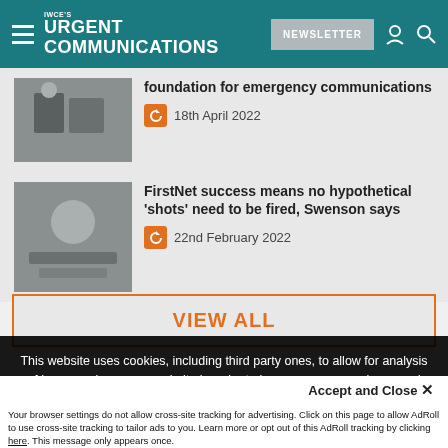IWCE's Urgent Communications — NEWSLETTER
foundation for emergency communications
18th April 2022
FirstNet success means no hypothetical 'shots' need to be fired, Swenson says
22nd February 2022
VIEW ALL
This website uses cookies, including third party ones, to allow for analysis of how people use our website in order to improve your experience and our services. By continuing to use our website, you agree to the use of such cookies. Click here for more information on our Cookie Policy and Privacy Policy
Accept and Close ✕
Your browser settings do not allow cross-site tracking for advertising. Click on this page to allow AdRoll to use cross-site tracking to tailor ads to you. Learn more or opt out of this AdRoll tracking by clicking here. This message only appears once.